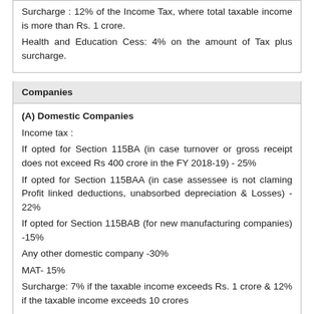Surcharge : 12% of the Income Tax, where total taxable income is more than Rs. 1 crore.
Health and Education Cess: 4% on the amount of Tax plus surcharge.
Companies
(A) Domestic Companies
Income tax :
If opted for Section 115BA (in case turnover or gross receipt does not exceed Rs 400 crore in the FY 2018-19) - 25%
If opted for Section 115BAA (in case assessee is not claming Profit linked deductions, unabsorbed depreciation & Losses) - 22%
If opted for Section 115BAB (for new manufacturing companies) -15%
Any other domestic company -30%
MAT- 15%
Surcharge: 7% if the taxable income exceeds Rs. 1 crore & 12% if the taxable income exceeds 10 crores
However, the rate of surcharge in case of a company opting for